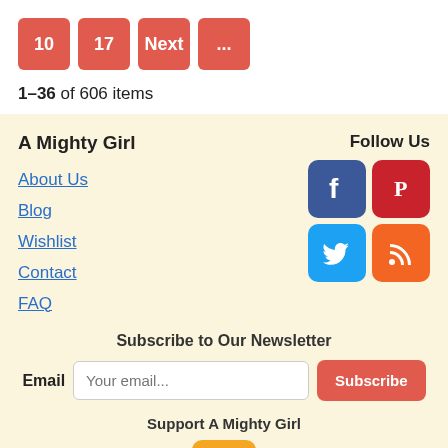10  17  Next  ...
1–36 of 606 items
A Mighty Girl
Follow Us
About Us
Blog
Wishlist
Contact
FAQ
[Figure (infographic): Social media icons: Facebook, Pinterest, Twitter, RSS]
Subscribe to Our Newsletter
Email  [Your email...]  Subscribe
Support A Mighty Girl